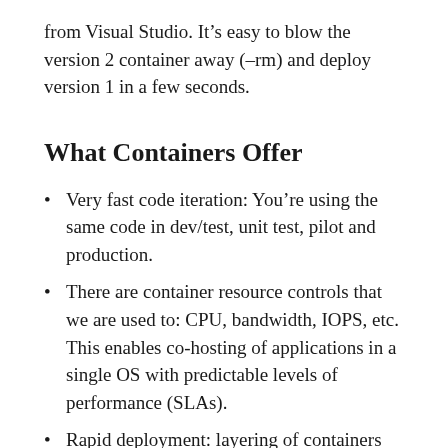from Visual Studio. It’s easy to blow the version 2 container away (–rm) and deploy version 1 in a few seconds.
What Containers Offer
Very fast code iteration: You’re using the same code in dev/test, unit test, pilot and production.
There are container resource controls that we are used to: CPU, bandwidth, IOPS, etc. This enables co-hosting of applications in a single OS with predictable levels of performance (SLAs).
Rapid deployment: layering of containers for